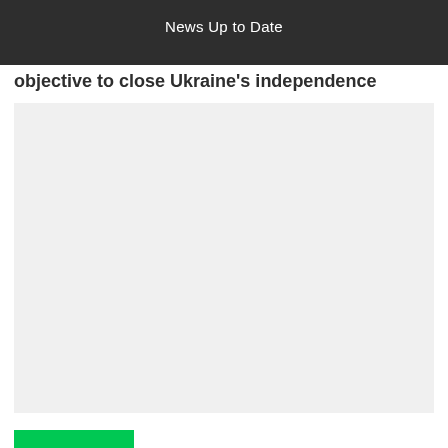News Up to Date
objective to close Ukraine's independence
[Figure (photo): Large light gray placeholder image area representing a news article photo related to Ukraine]